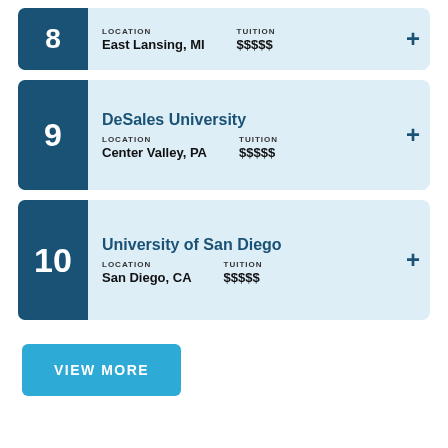8 | LOCATION: East Lansing, MI | TUITION: $$$$$
9 | DeSales University | LOCATION: Center Valley, PA | TUITION: $$$$$
10 | University of San Diego | LOCATION: San Diego, CA | TUITION: $$$$$
VIEW MORE